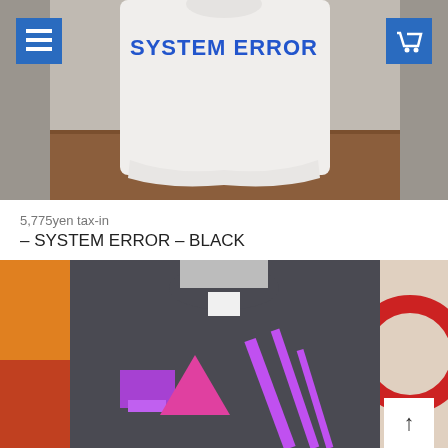[Figure (photo): White t-shirt with 'SYSTEM ERROR' printed in blue block letters on a wooden display stand. Blue hamburger menu icon top-left and blue shopping cart icon top-right overlay the image.]
5,775yen tax-in
– SYSTEM ERROR – BLACK
[Figure (photo): Dark charcoal/grey t-shirt hanging on a hanger with purple and magenta graphic design elements including rectangles, triangles and diagonal lines. Colorful artwork visible in background.]